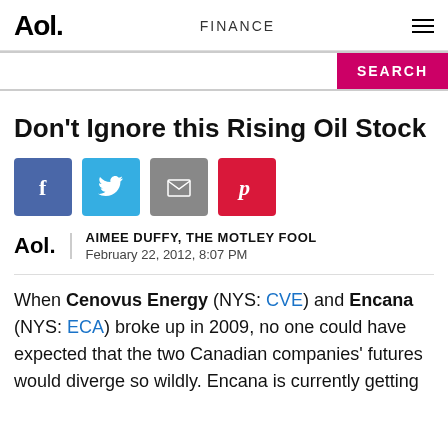Aol. FINANCE
Don't Ignore this Rising Oil Stock
[Figure (other): Social sharing buttons: Facebook, Twitter, Email, Pinterest]
AIMEE DUFFY, THE MOTLEY FOOL
February 22, 2012, 8:07 PM
When Cenovus Energy (NYS: CVE) and Encana (NYS: ECA) broke up in 2009, no one could have expected that the two Canadian companies' futures would diverge so wildly. Encana is currently getting